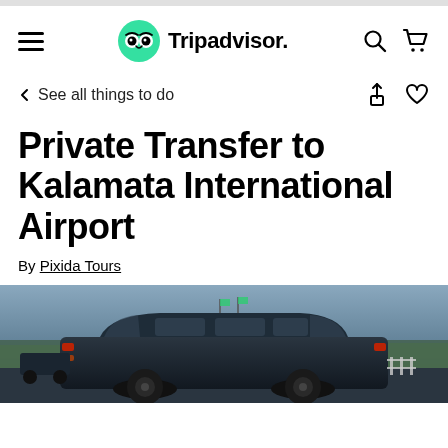Tripadvisor
See all things to do
Private Transfer to Kalamata International Airport
By Pixida Tours
[Figure (photo): A dark SUV/van vehicle photographed from the rear, parked outdoors with trees and sky in the background]